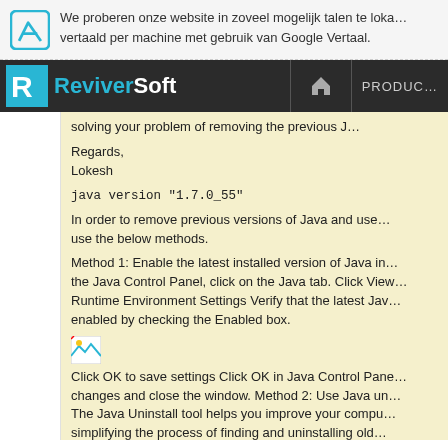We proberen onze website in zoveel mogelijk talen te loka… vertaald per machine met gebruik van Google Vertaal.
ReviverSoft | PRODUC…
solving your problem of removing the previous J…

Regards,
Lokesh
java version "1.7.0_55"
In order to remove previous versions of Java and use… use the below methods.
Method 1: Enable the latest installed version of Java in… the Java Control Panel, click on the Java tab. Click View… Runtime Environment Settings Verify that the latest Jav… enabled by checking the Enabled box.
[Figure (photo): Broken image placeholder thumbnail]
Click OK to save settings Click OK in Java Control Pane… changes and close the window. Method 2: Use Java un… The Java Uninstall tool helps you improve your compu… simplifying the process of finding and uninstalling old…